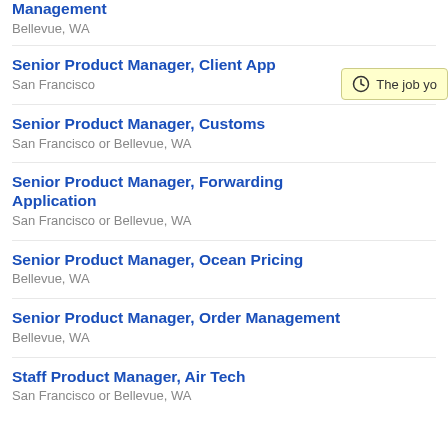Management
Bellevue, WA
Senior Product Manager, Client App
San Francisco
Senior Product Manager, Customs
San Francisco or Bellevue, WA
Senior Product Manager, Forwarding Application
San Francisco or Bellevue, WA
Senior Product Manager, Ocean Pricing
Bellevue, WA
Senior Product Manager, Order Management
Bellevue, WA
Staff Product Manager, Air Tech
San Francisco or Bellevue, WA